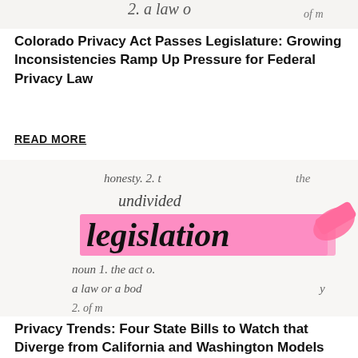[Figure (photo): Dictionary page showing definition of the word 'legislation' highlighted in pink with a pink highlighter marker, partially cropped at top]
Colorado Privacy Act Passes Legislature: Growing Inconsistencies Ramp Up Pressure for Federal Privacy Law
READ MORE
[Figure (photo): Dictionary page showing definition of the word 'legislation' highlighted in pink with a pink highlighter marker. Visible text includes: honesty. 2. the, undivided, legislation, noun 1. the act o., a law or a body, 2. of m]
Privacy Trends: Four State Bills to Watch that Diverge from California and Washington Models